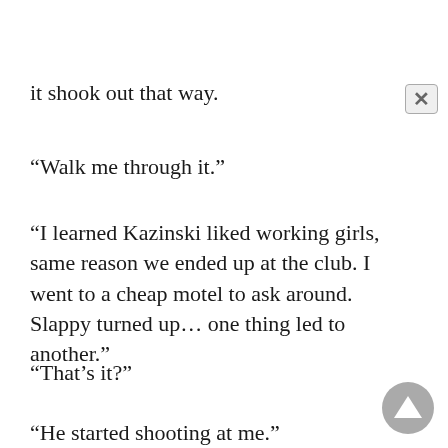it shook out that way.
“Walk me through it.”
“I learned Kazinski liked working girls, same reason we ended up at the club. I went to a cheap motel to ask around. Slappy turned up… one thing led to another.”
“That’s it?”
“He started shooting at me.”